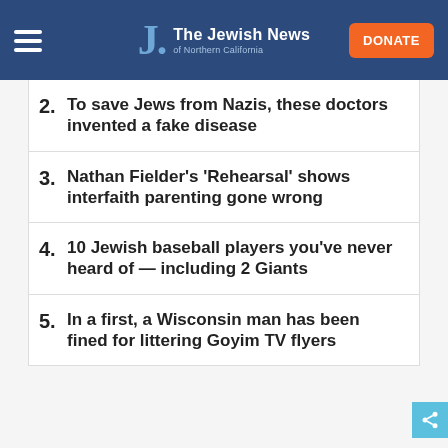The Jewish News of Northern California
2. To save Jews from Nazis, these doctors invented a fake disease
3. Nathan Fielder's 'Rehearsal' shows interfaith parenting gone wrong
4. 10 Jewish baseball players you've never heard of — including 2 Giants
5. In a first, a Wisconsin man has been fined for littering Goyim TV flyers